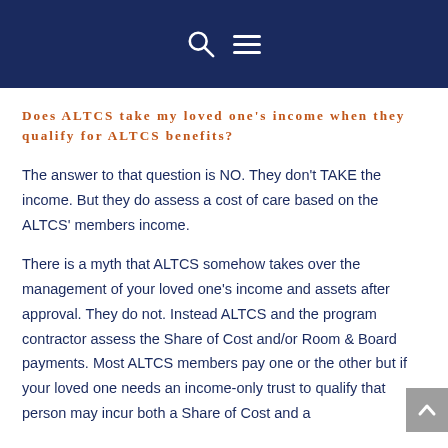Does ALTCS take my loved one's income when they qualify for ALTCS benefits?
The answer to that question is NO. They don't TAKE the income. But they do assess a cost of care based on the ALTCS' members income.
There is a myth that ALTCS somehow takes over the management of your loved one's income and assets after approval. They do not. Instead ALTCS and the program contractor assess the Share of Cost and/or Room & Board payments. Most ALTCS members pay one or the other but if your loved one needs an income-only trust to qualify that person may incur both a Share of Cost and a